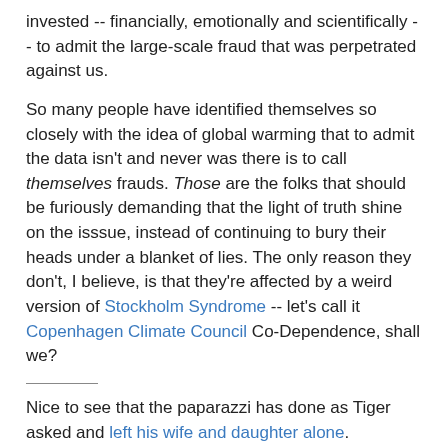invested -- financially, emotionally and scientifically -- to admit the large-scale fraud that was perpetrated against us.
So many people have identified themselves so closely with the idea of global warming that to admit the data isn't and never was there is to call themselves frauds. Those are the folks that should be furiously demanding that the light of truth shine on the isssue, instead of continuing to bury their heads under a blanket of lies. The only reason they don't, I believe, is that they're affected by a weird version of Stockholm Syndrome -- let's call it Copenhagen Climate Council Co-Dependence, shall we?
Nice to see that the paparazzi has done as Tiger asked and left his wife and daughter alone. Shitheads.
I needed a happy story, and Ellen and Kara gave it to me.
I still get a link from Gutrumbles every once in a while. Today